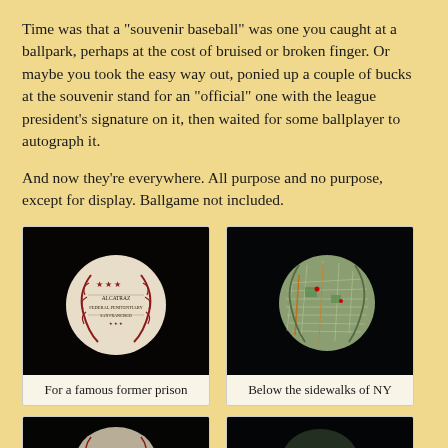Time was that a "souvenir baseball" was one you caught at a ballpark, perhaps at the cost of bruised or broken finger. Or maybe you took the easy way out, ponied up a couple of bucks at the souvenir stand for an "official" one with the league president's signature on it, then waited for some ballplayer to autograph it.
And now they're everywhere. All purpose and no purpose, except for display. Ballgame not included.
[Figure (photo): A souvenir baseball with printed text and stars pattern on dark background, described as 'For a famous former prison']
For a famous former prison
[Figure (photo): A souvenir baseball with a map of New York City subway/streets printed on it, on dark background, described as 'Below the sidewalks of NY']
Below the sidewalks of NY
[Figure (photo): Partial view of another souvenir baseball, dark, partially cut off at bottom of page]
[Figure (photo): Partial view of another souvenir baseball, dark, partially cut off at bottom of page]